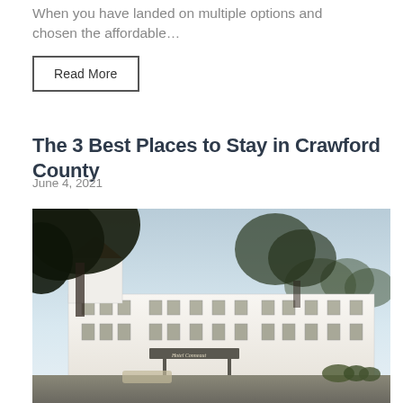When you have landed on multiple options and chosen the affordable…
Read More
The 3 Best Places to Stay in Crawford County
June 4, 2021
[Figure (photo): Exterior photo of a large white hotel building (Hotel Conneaut) with a red-roofed tower, multiple floors of windows, a porte-cochère entrance, and large trees in the foreground, taken at dusk/evening with a light blue sky.]